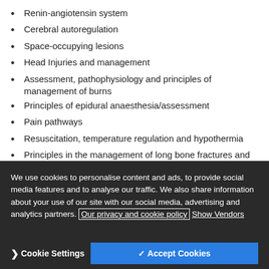Renin-angiotensin system
Cerebral autoregulation
Space-occupying lesions
Head Injuries and management
Assessment, pathophysiology and principles of management of burns
Principles of epidural anaesthesia/assessment
Pain pathways
Resuscitation, temperature regulation and hypothermia
Principles in the management of long bone fractures and pelvic trauma
Compartment syndrome
Clinical and Procedural Skills:
We use cookies to personalise content and ads, to provide social media features and to analyse our traffic. We also share information about your use of our site with our social media, advertising and analytics partners. Our privacy and cookie policy Show Vendors
Cookie Settings   ✓ Accept Cookies